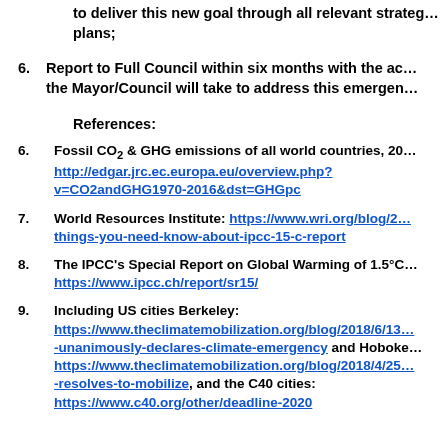to deliver this new goal through all relevant strategies and plans;
6. Report to Full Council within six months with the actions the Mayor/Council will take to address this emergency
References:
6. Fossil CO2 & GHG emissions of all world countries, 20... http://edgar.jrc.ec.europa.eu/overview.php?v=CO2andGHG1970-2016&dst=GHGpc
7. World Resources Institute: https://www.wri.org/blog/2...things-you-need-know-about-ipcc-15-c-report
8. The IPCC's Special Report on Global Warming of 1.5°C... https://www.ipcc.ch/report/sr15/
9. Including US cities Berkeley: https://www.theclimatemobilization.org/blog/2018/6/13...-unanimously-declares-climate-emergency and Hoboken: https://www.theclimatemobilization.org/blog/2018/4/25...-resolves-to-mobilize, and the C40 cities: https://www.c40.org/other/deadline-2020